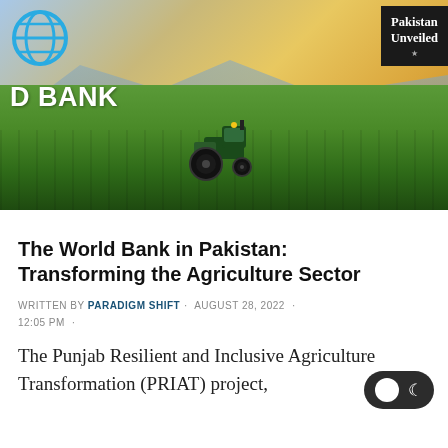[Figure (photo): Hero image showing a tractor in a green agricultural field with sunlit sky, World Bank logo on upper left, 'Pakistan Unveiled' branding box on upper right, 'D BANK' text overlay on left side]
The World Bank in Pakistan: Transforming the Agriculture Sector
WRITTEN BY PARADIGM SHIFT · AUGUST 28, 2022 · 12:05 PM ·
The Punjab Resilient and Inclusive Agriculture Transformation (PRIAT) project,